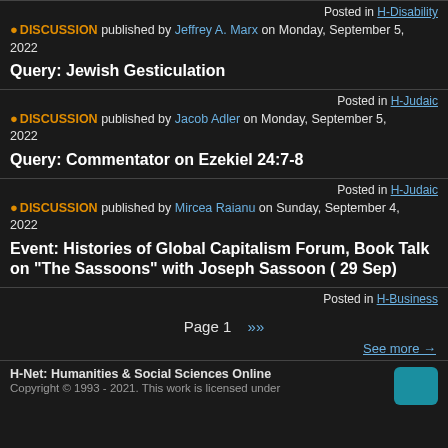Posted in H-Disability
DISCUSSION published by Jeffrey A. Marx on Monday, September 5, 2022
Query: Jewish Gesticulation
Posted in H-Judaic
DISCUSSION published by Jacob Adler on Monday, September 5, 2022
Query: Commentator on Ezekiel 24:7-8
Posted in H-Judaic
DISCUSSION published by Mircea Raianu on Sunday, September 4, 2022
Event: Histories of Global Capitalism Forum, Book Talk on "The Sassoons" with Joseph Sassoon ( 29 Sep)
Posted in H-Business
Page 1 >>
See more
H-Net: Humanities & Social Sciences Online
Copyright © 1993 - 2021. This work is licensed under